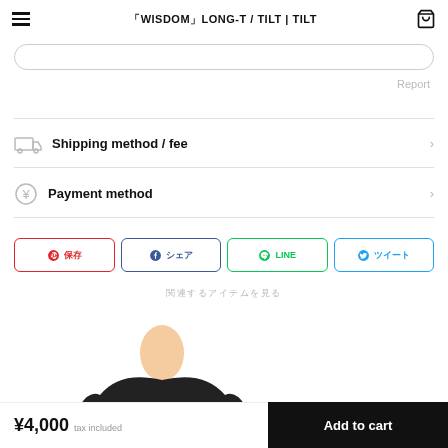WISDOM LONG-T / TILT | TILT
Report
Shipping method / fee
Payment method
Pinterest share | Facebook share | LINE | Twitter share
関連するアイテムを見る
[Figure (photo): Product photo - dark colored long-sleeve shirt, top portion visible]
¥4,000 tax included
Add to cart